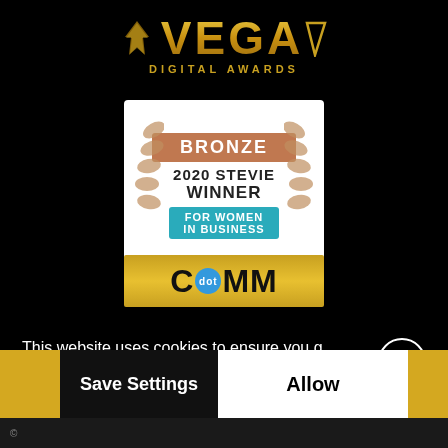[Figure (logo): Vega Digital Awards logo with gold text and helmet icon, plus DIGITAL AWARDS subtitle]
[Figure (illustration): Bronze 2020 Stevie Winner For Women In Business badge with laurel wreath decoration]
[Figure (logo): dotCOMM awards gold bar logo]
This website uses cookies to ensure you g the best experience on our website.
Learn more
Technical
Marketing
Save Settings
Allow